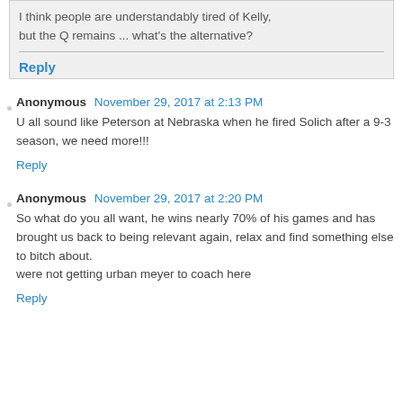I think people are understandably tired of Kelly, but the Q remains ... what's the alternative?
Reply
Anonymous November 29, 2017 at 2:13 PM
U all sound like Peterson at Nebraska when he fired Solich after a 9-3 season, we need more!!!
Reply
Anonymous November 29, 2017 at 2:20 PM
So what do you all want, he wins nearly 70% of his games and has brought us back to being relevant again, relax and find something else to bitch about.
were not getting urban meyer to coach here
Reply